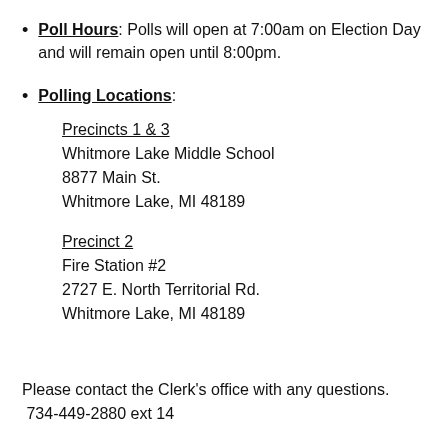Poll Hours: Polls will open at 7:00am on Election Day and will remain open until 8:00pm.
Polling Locations: Precincts 1 & 3 Whitmore Lake Middle School 8877 Main St. Whitmore Lake, MI 48189 Precinct 2 Fire Station #2 2727 E. North Territorial Rd. Whitmore Lake, MI 48189
Please contact the Clerk's office with any questions. 734-449-2880 ext 14